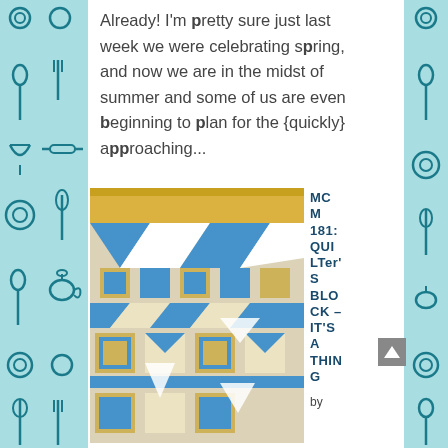[Figure (illustration): Decorative teal border on left and right sides with kitchen utensil patterns (spoons, forks, mixing bowls, etc.) in dark teal on light teal background]
Already! I'm pretty sure just last week we were celebrating spring, and now we are in the midst of summer and some of us are even beginning to plan for the {quickly} approaching...
[Figure (photo): A quilt with geometric blue, gold/tan, and white patterns laid out on a quilting frame/longarm machine, photographed from above at an angle.]
MCM 181: QUILTER'S BLOCK – IT'S A THING
by